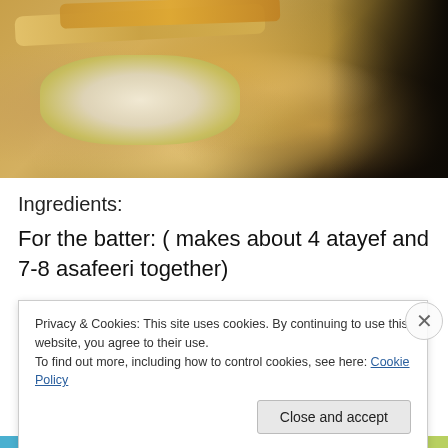[Figure (photo): Close-up photo of atayef (Middle Eastern stuffed pancakes) filled with cream and crushed pistachios/nuts, on a dark background]
Ingredients:
For the batter: ( makes about 4 atayef and 7-8 asafeeri together)
Privacy & Cookies: This site uses cookies. By continuing to use this website, you agree to their use.
To find out more, including how to control cookies, see here: Cookie Policy
Close and accept